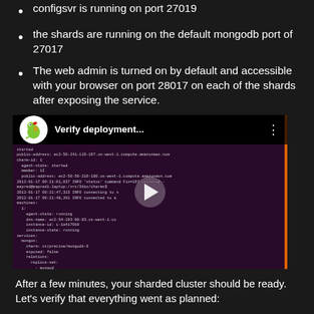configsvr is running on port 27019
the shards are running on the default mongodb port of 27017
The web admin is turned on by default and accessible with your browser on port 28017 on each of the shards after exposing the service.
[Figure (screenshot): YouTube video thumbnail showing 'Verify deployment...' with a terminal/command-line output in a dark purple background, with a play button overlay. The video thumbnail shows MongoDB deployment status output.]
After a few minutes, your sharded cluster should be ready. Let's verify that everything went as planned: